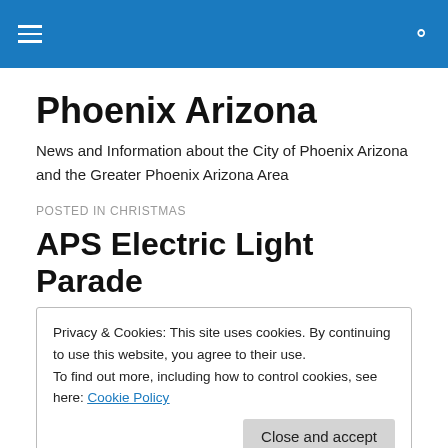Phoenix Arizona
News and Information about the City of Phoenix Arizona and the Greater Phoenix Arizona Area
POSTED IN CHRISTMAS
APS Electric Light Parade
Privacy & Cookies: This site uses cookies. By continuing to use this website, you agree to their use.
To find out more, including how to control cookies, see here: Cookie Policy
Close and accept
Light Parade